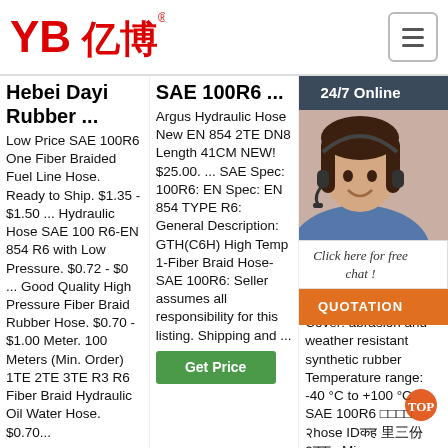[Figure (logo): YB亿博 company logo in red with registered trademark symbol]
Hebei Dayi Rubber ...
Low Price SAE 100R6 One Fiber Braided Fuel Line Hose. Ready to Ship. $1.35 - $1.50 ... Hydraulic Hose SAE 100 R6-EN 854 R6 with Low Pressure. $0.72 - $0 ... Good Quality High Pressure Fiber Braid Rubber Hose. $0.70 - $1.00 Meter. 100 Meters (Min. Order) 1TE 2TE 3TE R3 R6 Fiber Braid Hydraulic Oil Water Hose. $0.70 ...
SAE 100R6 ...
Argus Hydraulic Hose New EN 854 2TE DN8 Length 41CM NEW! $25.00. ... SAE Spec: 100R6: EN Spec: EN 854 TYPE R6: General Description: GTH(C6H) High Temp 1-Fiber Braid Hose-SAE 100R6: Seller assumes all responsibility for this listing. Shipping and ...
Hydraulic Ho...
201... 21u... Fibe... Cov... Hos... Tube: syn... Rei... high... fibre... Cover: abrasion and weather resistant synthetic rubber Temperature range: -40 °C to +100 °C SAE 100R6 hose ID...
[Figure (photo): Customer service agent (woman with headset) chat overlay with 24/7 Online header, chat bubble, and QUOTATION button]